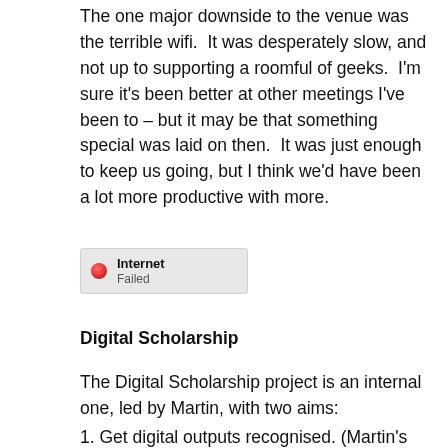The one major downside to the venue was the terrible wifi. It was desperately slow, and not up to supporting a roomful of geeks. I'm sure it's been better at other meetings I've been to – but it may be that something special was laid on then. It was just enough to keep us going, but I think we'd have been a lot more productive with more.
[Figure (screenshot): Internet Failed status indicator: red circle icon on left, bold text 'Internet' and grey text 'Failed' on right, on a light grey rounded rectangle background.]
Digital Scholarship
The Digital Scholarship project is an internal one, led by Martin, with two aims:
1. Get digital outputs recognised. (Martin's